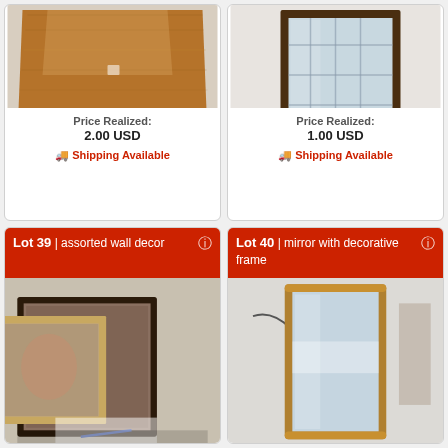[Figure (photo): Wooden table top viewed from above, coffee table with handle visible at bottom, on tiled floor]
Price Realized:
2.00 USD
Shipping Available
[Figure (photo): Rectangular mirror with dark wood frame leaning against white wall]
Price Realized:
1.00 USD
Shipping Available
Lot 39 | assorted wall decor
[Figure (photo): Assorted framed wall art pieces leaning against each other on the floor]
Lot 40 | mirror with decorative frame
[Figure (photo): Mirror with decorative gold/wood frame leaning against white wall]